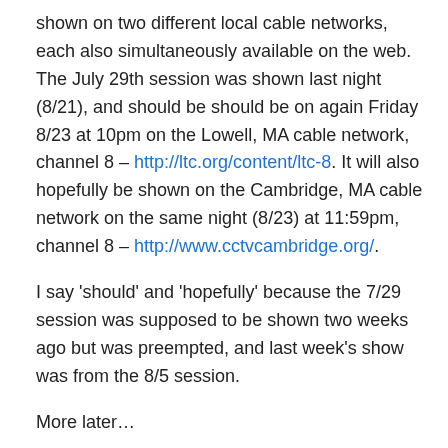shown on two different local cable networks, each also simultaneously available on the web. The July 29th session was shown last night (8/21), and should be should be on again Friday 8/23 at 10pm on the Lowell, MA cable network, channel 8 – http://ltc.org/content/ltc-8. It will also hopefully be shown on the Cambridge, MA cable network on the same night (8/23) at 11:59pm, channel 8 – http://www.cctvcambridge.org/.
I say 'should' and 'hopefully' because the 7/29 session was supposed to be shown two weeks ago but was preempted, and last week's show was from the 8/5 session.
More later…
[Figure (infographic): Social sharing buttons: Twitter (blue), Facebook (blue), Tumblr (dark teal), Pinterest (red), Email (grey), Print (grey)]